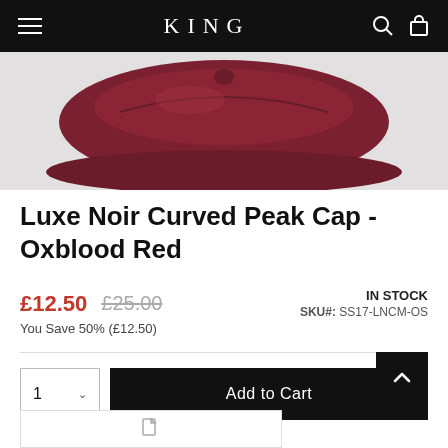KING
[Figure (photo): Product photo showing a dark oxblood red curved peak cap on a light grey background, viewed from above/front angle.]
Luxe Noir Curved Peak Cap - Oxblood Red
£12.50  £25.00  IN STOCK  You Save 50% (£12.50)  SKU#: SS17-LNCM-OS
1  Add to Cart